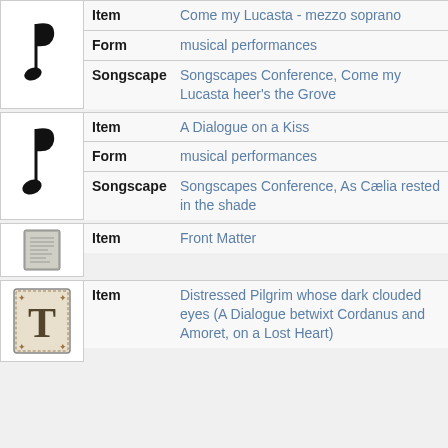|  | Field | Value |
| --- | --- | --- |
| [music note] | Item | Come my Lucasta - mezzo soprano |
|  | Form | musical performances |
|  | Songscape | Songscapes Conference, Come my Lucasta heer's the Grove |
|  | Field | Value |
| --- | --- | --- |
| [music note] | Item | A Dialogue on a Kiss |
|  | Form | musical performances |
|  | Songscape | Songscapes Conference, As Cælia rested in the shade |
|  | Field | Value |
| --- | --- | --- |
| [book] | Item | Front Matter |
|  | Field | Value |
| --- | --- | --- |
| [T ornament] | Item | Distressed Pilgrim whose dark clouded eyes (A Dialogue betwixt Cordanus and Amoret, on a Lost Heart) |